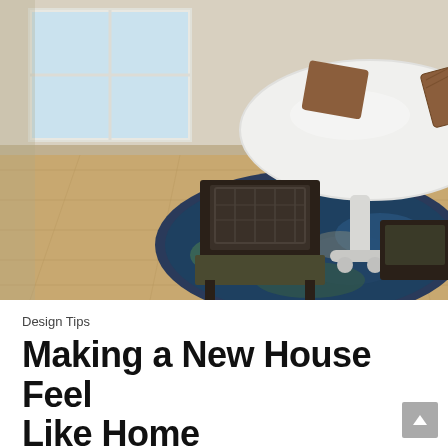[Figure (photo): Dining room scene with a white round pedestal table set with brown woven placemats, dark wood cane-back chairs with dark upholstered seats, a colorful abstract round rug in blues, greens and purples on light hardwood floors, and potted plants on the table near a bright window.]
Design Tips
Making a New House Feel Like Home
Making a New House Feel Like Home  The Art of Making